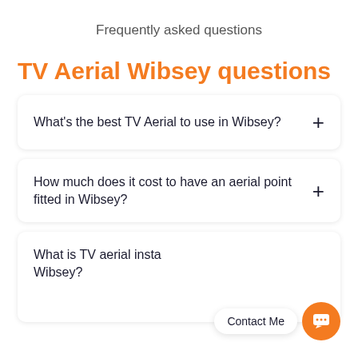Frequently asked questions
TV Aerial Wibsey questions
What's the best TV Aerial to use in Wibsey?
How much does it cost to have an aerial point fitted in Wibsey?
What is TV aerial insta Wibsey?
Contact Me